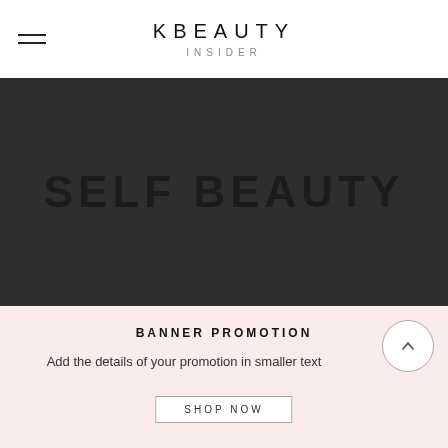KBEAUTY INSIDER
[Figure (logo): Dark gray banner with large bold text 'SELF BEAUTY' in black on dark background]
BANNER PROMOTION
Add the details of your promotion in smaller text
SHOP NOW